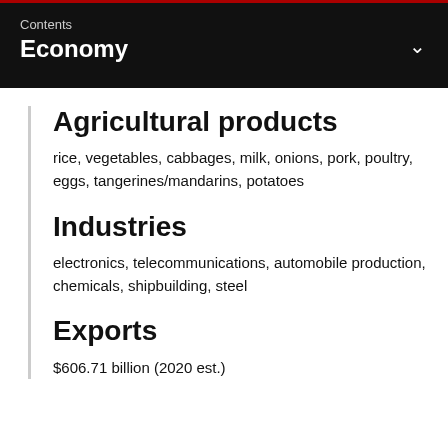Contents
Economy
Agricultural products
rice, vegetables, cabbages, milk, onions, pork, poultry, eggs, tangerines/mandarins, potatoes
Industries
electronics, telecommunications, automobile production, chemicals, shipbuilding, steel
Exports
$606.71 billion (2020 est.)